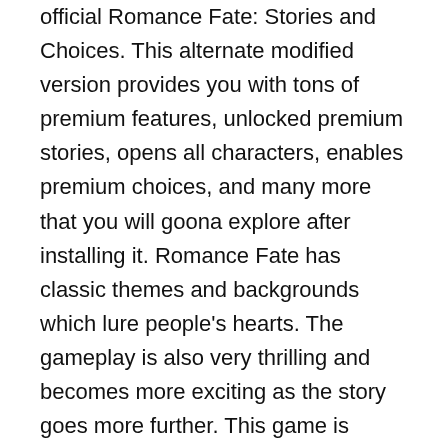official Romance Fate: Stories and Choices. This alternate modified version provides you with tons of premium features, unlocked premium stories, opens all characters, enables premium choices, and many more that you will goona explore after installing it. Romance Fate has classic themes and backgrounds which lure people's hearts. The gameplay is also very thrilling and becomes more exciting as the story goes more further. This game is highly addictive for everyone; once you start it, it becomes harder to resist yourself from this game for a single day.&#x25C6; 3&#x1D;<p>Roll7's OlliOlli, that Bronze Award-winning 3D skateboarding trickster, is coming to 3DS. Fancy that.</p><p>It was announced today with a trailer that you can watch below to suitably amp up your excitement.</p><p>As you can see, it'a also coming to Wii U and Xbox One, but we don't know what they are here at PG - military drones, maybe?</p><p>Anyway, according to that trailer, OlliOllli is coming to 3DS "because you asked about it"...